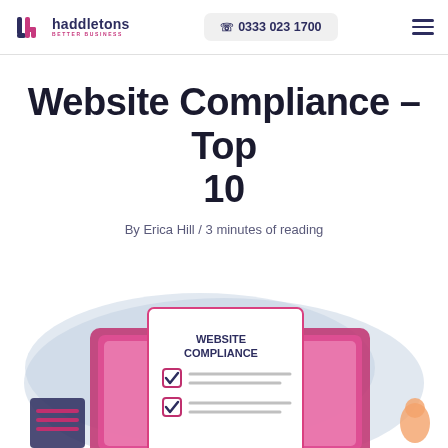haddletons BETTER BUSINESS | 0333 023 1700
Website Compliance – Top 10
By Erica Hill / 3 minutes of reading
[Figure (illustration): Illustration of a website compliance checklist on a screen with checkboxes and tick marks, surrounded by decorative elements and a person, on a light blue/grey blob background.]